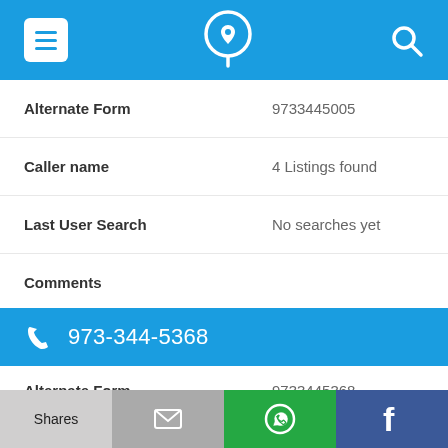Navigation bar with menu, phone logo, and search icons
| Field | Value |
| --- | --- |
| Alternate Form | 9733445005 |
| Caller name | 4 Listings found |
| Last User Search | No searches yet |
| Comments |  |
973-344-5368
| Field | Value |
| --- | --- |
| Alternate Form | 9733445368 |
| Caller name | Mac Products Inc |
Shares | Email | WhatsApp | Facebook